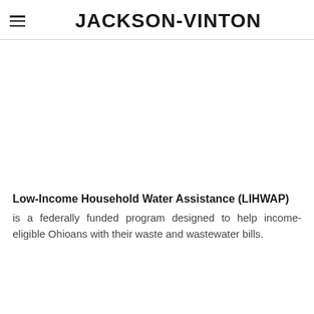JACKSON-VINTON
Low-Income Household Water Assistance (LIHWAP)
is a federally funded program designed to help income-eligible Ohioans with their waste and wastewater bills.